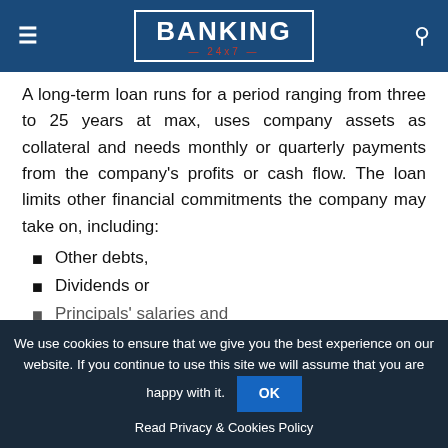BANKING 24x7
A long-term loan runs for a period ranging from three to 25 years at max, uses company assets as collateral and needs monthly or quarterly payments from the company's profits or cash flow. The loan limits other financial commitments the company may take on, including:
Other debts,
Dividends or
Principals' salaries and
We use cookies to ensure that we give you the best experience on our website. If you continue to use this site we will assume that you are happy with it. OK
Read Privacy & Cookies Policy